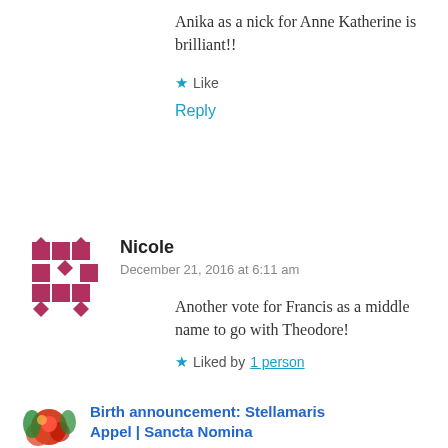Anika as a nick for Anne Katherine is brilliant!!
★ Like
Reply
Nicole
December 21, 2016 at 6:11 am
Another vote for Francis as a middle name to go with Theodore!
★ Liked by 1 person
Birth announcement: Stellamaris Appel | Sancta Nomina